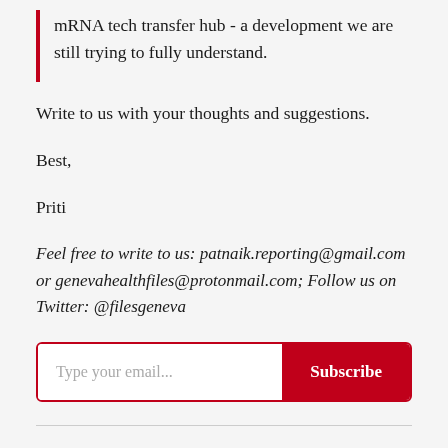mRNA tech transfer hub - a development we are still trying to fully understand.
Write to us with your thoughts and suggestions.
Best,
Priti
Feel free to write to us: patnaik.reporting@gmail.com or genevahealthfiles@protonmail.com; Follow us on Twitter: @filesgeneva
[Figure (other): Email subscription input box with placeholder 'Type your email...' and a red Subscribe button]